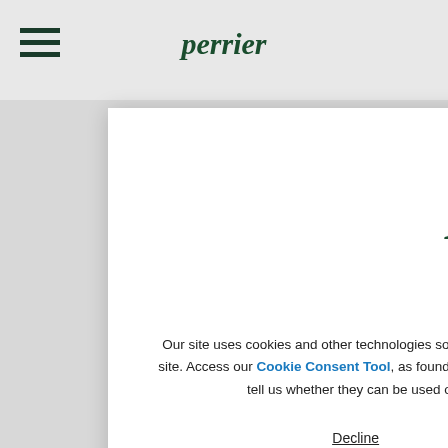[Figure (logo): Perrier brand logo in dark green, nav bar top]
[Figure (logo): Perrier brand logo large, inside cookie consent modal]
Cookies
Our site uses cookies and other technologies so that we, and our partners, can remember you and understand how you use our site. Access our Cookie Consent Tool, as found on our Cookie Notice page, to see a complete list of these technologies and to tell us whether they can be used on your device. Further use of this site will be considered consent.
Decline
Accept
2. What information do we collect?